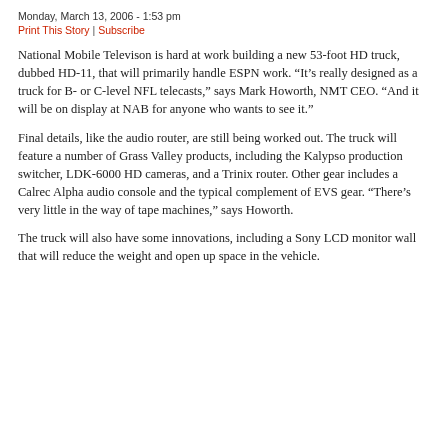Monday, March 13, 2006 - 1:53 pm
Print This Story | Subscribe
National Mobile Televison is hard at work building a new 53-foot HD truck, dubbed HD-11, that will primarily handle ESPN work. “It’s really designed as a truck for B- or C-level NFL telecasts,” says Mark Howorth, NMT CEO. “And it will be on display at NAB for anyone who wants to see it.”
Final details, like the audio router, are still being worked out. The truck will feature a number of Grass Valley products, including the Kalypso production switcher, LDK-6000 HD cameras, and a Trinix router. Other gear includes a Calrec Alpha audio console and the typical complement of EVS gear. “There’s very little in the way of tape machines,” says Howorth.
The truck will also have some innovations, including a Sony LCD monitor wall that will reduce the weight and open up space in the vehicle.